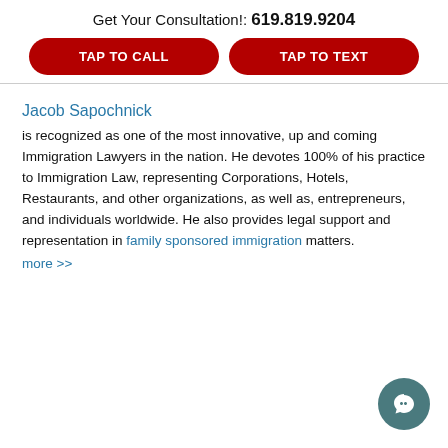Get Your Consultation!: 619.819.9204
TAP TO CALL
TAP TO TEXT
Jacob Sapochnick
is recognized as one of the most innovative, up and coming Immigration Lawyers in the nation. He devotes 100% of his practice to Immigration Law, representing Corporations, Hotels, Restaurants, and other organizations, as well as, entrepreneurs, and individuals worldwide. He also provides legal support and representation in family sponsored immigration matters.
more >>